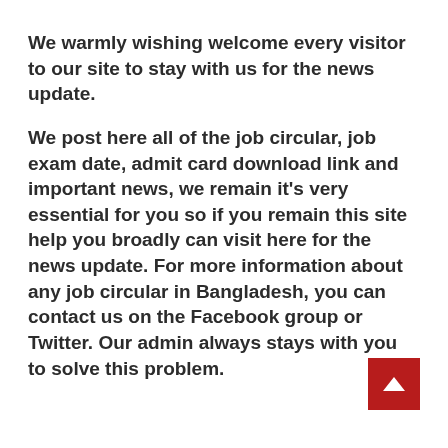We warmly wishing welcome every visitor to our site to stay with us for the news update.
We post here all of the job circular, job exam date, admit card download link and important news, we remain it’s very essential for you so if you remain this site help you broadly can visit here for the news update. For more information about any job circular in Bangladesh, you can contact us on the Facebook group or Twitter. Our admin always stays with you to solve this problem.